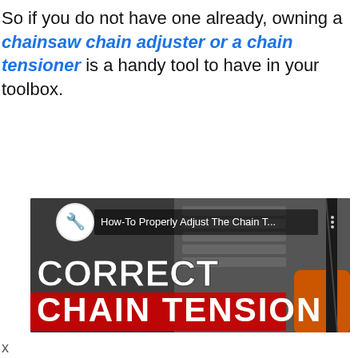So if you do not have one already, owning a chainsaw chain adjuster or a chain tensioner is a handy tool to have in your toolbox.
[Figure (screenshot): YouTube video thumbnail showing 'How-To Properly Adjust The Chain T...' with text CORRECT CHAIN TENSION overlaid on an image of a chainsaw]
x